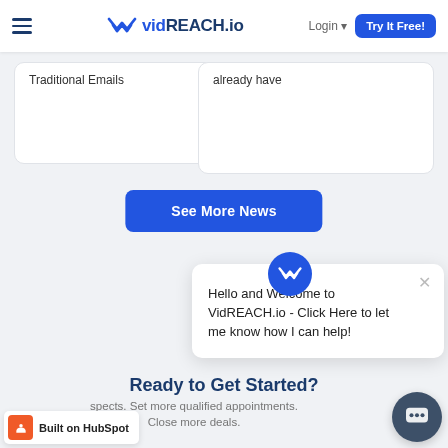vidREACH.io — Login | Try It Free!
Traditional Emails
already have
See More News
Hello and Welcome to VidREACH.io - Click Here to let me know how I can help!
Ready to Get Started?
spects. Set more qualified appointments. Close more deals.
Built on HubSpot